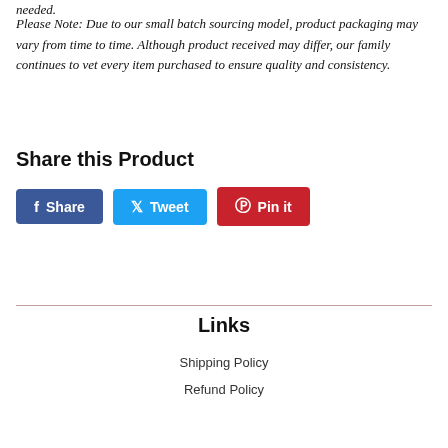needed.
Please Note: Due to our small batch sourcing model, product packaging may vary from time to time. Although product received may differ, our family continues to vet every item purchased to ensure quality and consistency.
Share this Product
[Figure (infographic): Three social sharing buttons: Facebook Share (dark blue), Twitter Tweet (light blue), Pinterest Pin it (red)]
Links
Shipping Policy
Refund Policy